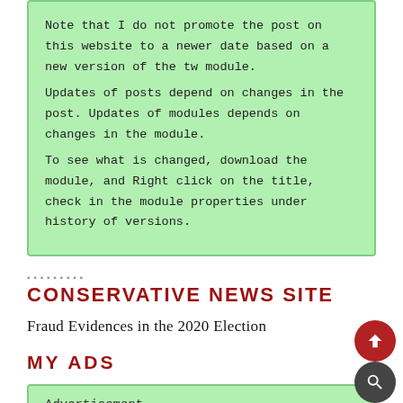Note that I do not promote the post on this website to a newer date based on a new version of the tw module.
Updates of posts depend on changes in the post. Updates of modules depends on changes in the module.
To see what is changed, download the module, and Right click on the title, check in the module properties under history of versions.
CONSERVATIVE NEWS SITE
Fraud Evidences in the 2020 Election
MY ADS
Advertisement
In the class theWord Bible Bookmarks we review how to open and close the Bible bookmarks bar, and how use it.